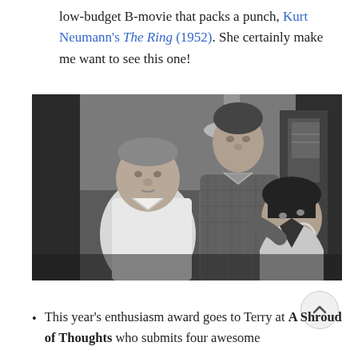low-budget B-movie that packs a punch, Kurt Neumann's The Ring (1952). She certainly make me want to see this one!
[Figure (photo): Black and white still photograph from a film showing three men: an older heavyset man on the left in a white shirt, a tall man in the center wearing a checked jacket, and a younger dark-haired man in a satin jacket on the right looking downward.]
This year's enthusiasm award goes to Terry at A Shroud of Thoughts who submits four awesome